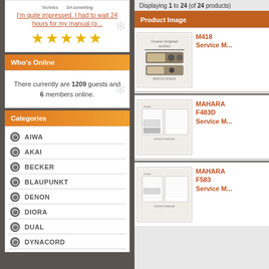I'm quite impressed. I had to wait 24 hours for my manual (q..
[Figure (infographic): Five gold stars rating]
Who's Online
There currently are 1209 guests and 6 members online.
Categories
AIWA
AKAI
BECKER
BLAUPUNKT
DENON
DIORA
DUAL
DYNACORD
Displaying 1 to 24 (of 24 products)
Product Image
[Figure (photo): Graetz M418 Service Manual product thumbnail]
M418 Service M...
[Figure (photo): MAHARA F483D Service Manual product thumbnail]
MAHARA F483D Service M...
[Figure (photo): MAHARA F583 Service Manual product thumbnail]
MAHARA F583 Service M...